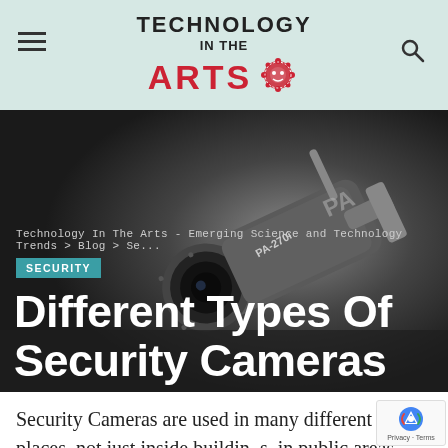TECHNOLOGY IN THE ARTS
Technology In The Arts - Emerging Science and Technology Trends > Blog > Se...
SECURITY
Different Types Of Security Cameras
LARRY COVERT · October 30, 2020
[Figure (photo): Close-up photo of a bullet-style security camera (model PA-270i) against a dark gray background, angled downward toward the viewer.]
Security Cameras are used in many different places, not just inside buildings, in public areas such as schools and malls.